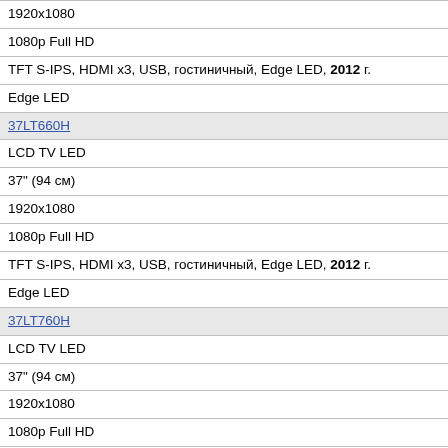| 1920x1080 |
| 1080p Full HD |
| TFT S-IPS, HDMI x3, USB, гостиничный, Edge LED, 2012 г. |
| Edge LED |
| 37LT660H |
| LCD TV LED |
| 37" (94 см) |
| 1920x1080 |
| 1080p Full HD |
| TFT S-IPS, HDMI x3, USB, гостиничный, Edge LED, 2012 г. |
| Edge LED |
| 37LT760H |
| LCD TV LED |
| 37" (94 см) |
| 1920x1080 |
| 1080p Full HD |
| TFT S-IPS, HDMI x3, USB, гостиничный, Edge LED, 2012 г. |
| Edge LED |
| 42CS460 |
| LCD TV |
| 42" (107 см) |
| 1920x1080 |
| 1080p Full HD |